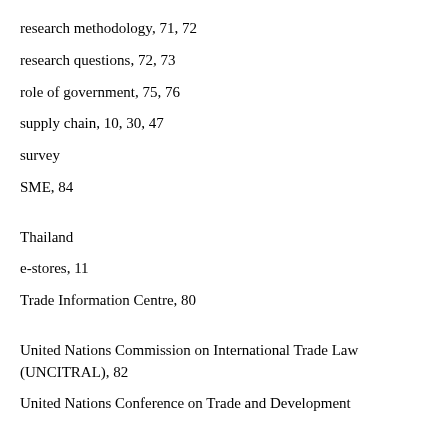research methodology, 71, 72
research questions, 72, 73
role of government, 75, 76
supply chain, 10, 30, 47
survey
SME, 84
Thailand
e-stores, 11
Trade Information Centre, 80
United Nations Commission on International Trade Law (UNCITRAL), 82
United Nations Conference on Trade and Development